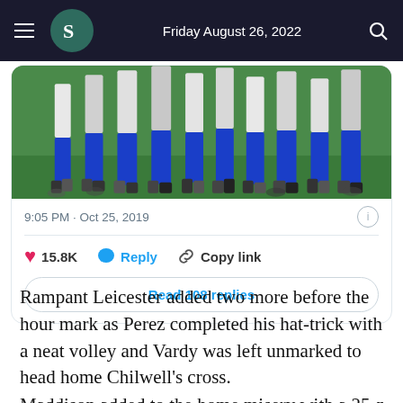Friday August 26, 2022
[Figure (photo): Partial view of football players' legs in blue socks and white/grey kits standing on a green pitch]
9:05 PM · Oct 25, 2019
15.8K  Reply  Copy link
Read 108 replies
Rampant Leicester added two more before the hour mark as Perez completed his hat-trick with a neat volley and Vardy was left unmarked to head home Chilwell's cross.
Maddison added to the home misery with a 25-metre